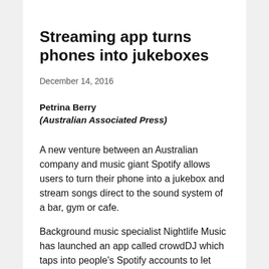Streaming app turns phones into jukeboxes
December 14, 2016
Petrina Berry
(Australian Associated Press)
A new venture between an Australian company and music giant Spotify allows users to turn their phone into a jukebox and stream songs direct to the sound system of a bar, gym or cafe.
Background music specialist Nightlife Music has launched an app called crowdDJ which taps into people's Spotify accounts to let them select a song to be played at public venues.
More than 600 venues across Australia have